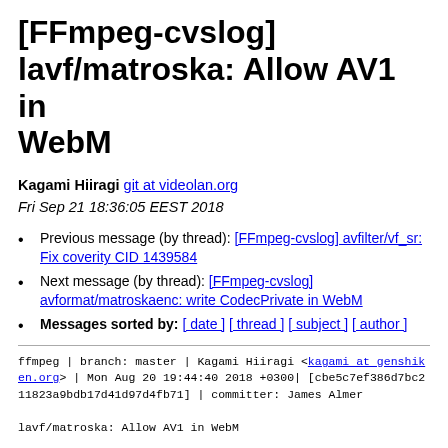[FFmpeg-cvslog] lavf/matroska: Allow AV1 in WebM
Kagami Hiiragi git at videolan.org
Fri Sep 21 18:36:05 EEST 2018
Previous message (by thread): [FFmpeg-cvslog] avfilter/vf_sr: Fix coverity CID 1439584
Next message (by thread): [FFmpeg-cvslog] avformat/matroskaenc: write CodecPrivate in WebM
Messages sorted by: [ date ] [ thread ] [ subject ] [ author ]
ffmpeg | branch: master | Kagami Hiiragi <kagami at genshiken.org> | Mon Aug 20 19:44:40 2018 +0300| [cbe5c7ef386d7bc211823a9bdb17d41d97d4fb71] | committer: James Almer

lavf/matroska: Allow AV1 in WebM

Nothing prevents it to work except this check. AV1 is already supported